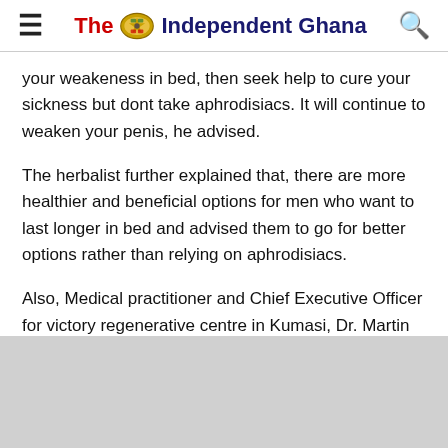The Independent Ghana
your weakeness in bed, then seek help to cure your sickness but dont take aphrodisiacs. It will continue to weaken your penis, he advised.
The herbalist further explained that, there are more healthier and beneficial options for men who want to last longer in bed and advised them to go for better options rather than relying on aphrodisiacs.
Also, Medical practitioner and Chief Executive Officer for victory regenerative centre in Kumasi, Dr. Martin Asante has attributed the increasing use of aphrodisiacs by most